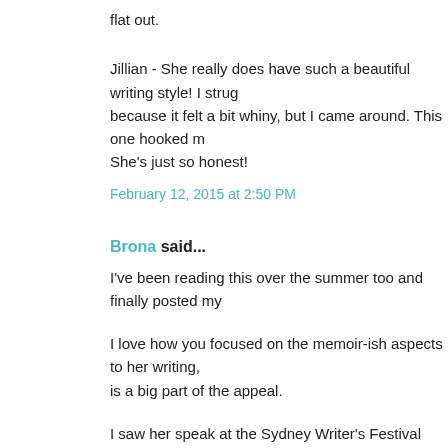flat out.
Jillian - She really does have such a beautiful writing style! I strug because it felt a bit whiny, but I came around. This one hooked m She's just so honest!
February 12, 2015 at 2:50 PM
Brona said...
I've been reading this over the summer too and finally posted my
I love how you focused on the memoir-ish aspects to her writing, is a big part of the appeal.
I saw her speak at the Sydney Writer's Festival two years ago...& writes - very open, frank & often startling.
February 14, 2015 at 5:18 PM
Melissa (Avid Reader) said...
Brona - I would love to hear her speak! She strikes me as being a